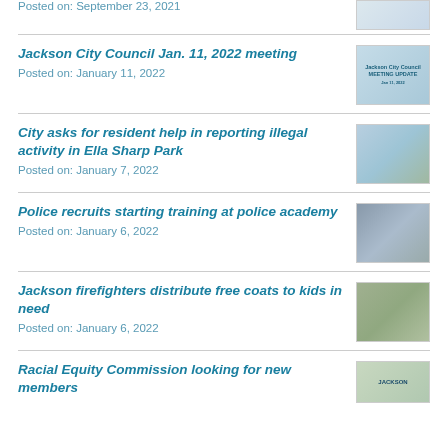Posted on: September 23, 2021
Jackson City Council Jan. 11, 2022 meeting
Posted on: January 11, 2022
City asks for resident help in reporting illegal activity in Ella Sharp Park
Posted on: January 7, 2022
Police recruits starting training at police academy
Posted on: January 6, 2022
Jackson firefighters distribute free coats to kids in need
Posted on: January 6, 2022
Racial Equity Commission looking for new members